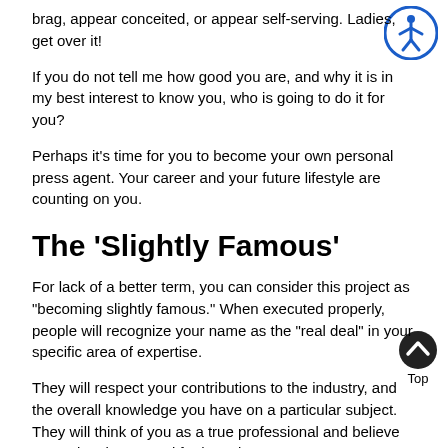brag, appear conceited, or appear self-serving. Ladies, get over it!
If you do not tell me how good you are, and why it is in my best interest to know you, who is going to do it for you?
Perhaps it’s time for you to become your own personal press agent. Your career and your future lifestyle are counting on you.
The ‘Slightly Famous’
For lack of a better term, you can consider this project as “becoming slightly famous.” When executed properly, people will recognize your name as the “real deal” in your specific area of expertise.
They will respect your contributions to the industry, and the overall knowledge you have on a particular subject. They will think of you as a true professional and believe you to be sincere and forthcoming.
But I am afraid this won’t come by accident. So, how